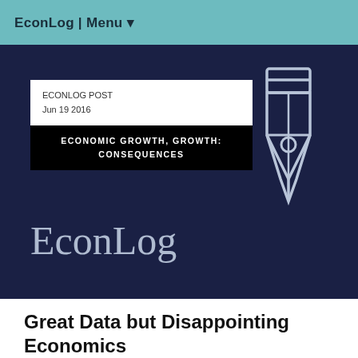EconLog | Menu ▼
[Figure (logo): EconLog hero banner with dark navy background, post metadata card showing 'ECONLOG POST Jun 19 2016', category label 'ECONOMIC GROWTH, GROWTH: CONSEQUENCES', EconLog wordmark in serif font, and a pen nib icon outline on the right.]
Great Data but Disappointing Economics